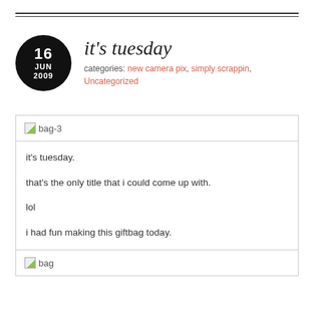it's tuesday
categories: new camera pix, simply scrappin, Uncategorized
[Figure (photo): Placeholder image labeled bag-3]
it's tuesday.

that's the only title that i could come up with.

lol

i had fun making this giftbag today.
[Figure (photo): Placeholder image labeled bag]